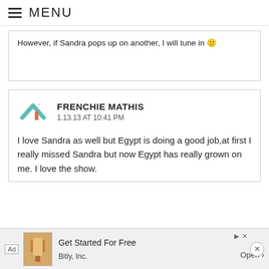MENU
However, if Sandra pops up on another, I will tune in 🙂
FRENCHIE MATHIS
1.13.13 AT 10:41 PM
[Figure (logo): Avatar logo with orange and teal chevron/house icon with sparkles]
I love Sandra as well but Egypt is doing a good job,at first I really missed Sandra but now Egypt has really grown on me. I love the show.
Ad  Get Started For Free  Bitly, Inc.  Open >